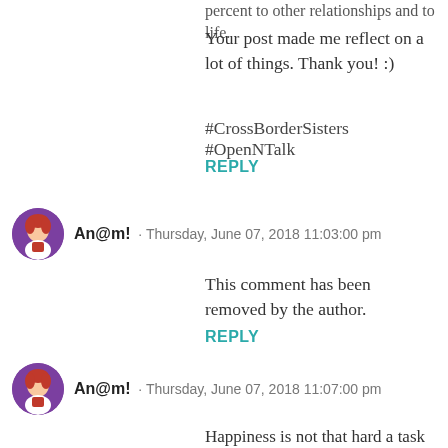percent to other relationships and to life.
Your post made me reflect on a lot of things. Thank you! :)
#CrossBorderSisters #OpenNTalk
REPLY
An@m!  · Thursday, June 07, 2018 11:03:00 pm
This comment has been removed by the author.
REPLY
An@m!  · Thursday, June 07, 2018 11:07:00 pm
Happiness is not that hard a task as it seems to be nowadays. It is just like people are searching it outside in the materialistic world. We need to just embrace the happiness all around that's it. Nice points.